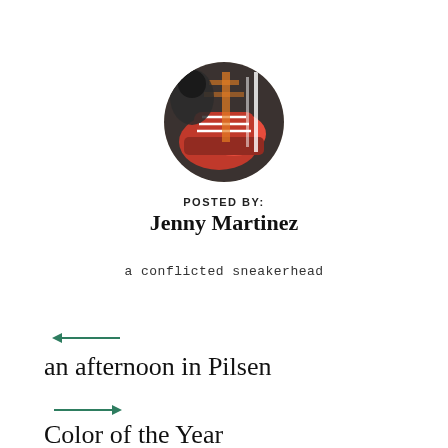[Figure (photo): Circular avatar photo of a person wearing orange/red sneakers with white laces, close-up shot]
POSTED BY:
Jenny Martinez
a conflicted sneakerhead
[Figure (other): Left-pointing green arrow]
an afternoon in Pilsen
[Figure (other): Right-pointing green arrow]
Color of the Year